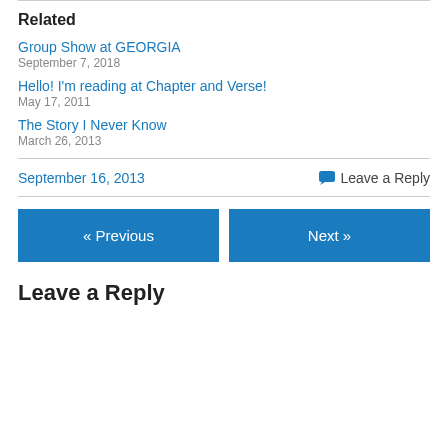Related
Group Show at GEORGIA
September 7, 2018
Hello! I'm reading at Chapter and Verse!
May 17, 2011
The Story I Never Know
March 26, 2013
September 16, 2013    Leave a Reply
« Previous    Next »
Leave a Reply